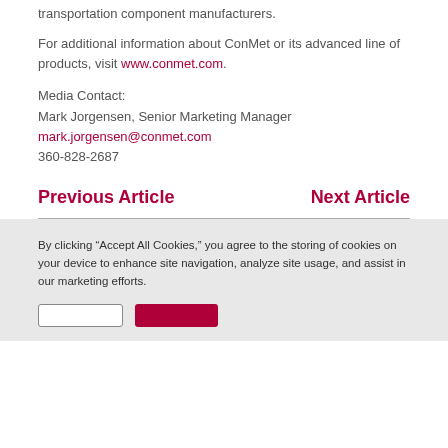transportation component manufacturers.
For additional information about ConMet or its advanced line of products, visit www.conmet.com.
Media Contact:
Mark Jorgensen, Senior Marketing Manager
mark.jorgensen@conmet.com
360-828-2687
Previous Article
Next Article
By clicking “Accept All Cookies,” you agree to the storing of cookies on your device to enhance site navigation, analyze site usage, and assist in our marketing efforts.